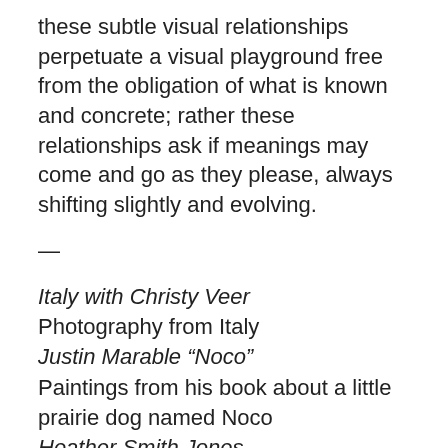these subtle visual relationships perpetuate a visual playground free from the obligation of what is known and concrete; rather these relationships ask if meanings may come and go as they please, always shifting slightly and evolving.
—
Italy with Christy Veer
Photography from Italy
Justin Marable “Noco”
Paintings from his book about a little prairie dog named Noco
Heather Smith Jones
Conference Room Show
Signs of Life Gallery